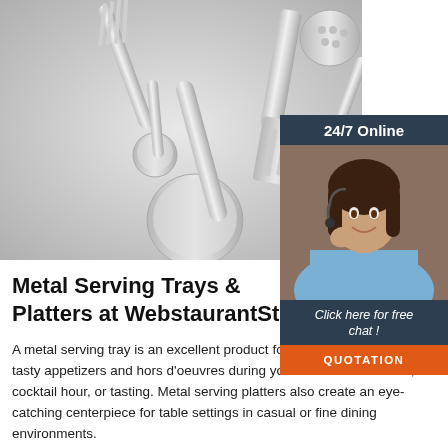[Figure (photo): Overhead view of silver/stainless steel kitchen utensils including spoons, forks, and a spatula on a light grey background]
[Figure (infographic): 24/7 Online chat widget with a woman wearing a headset, 'Click here for free chat!' text, and an orange QUOTATION button]
Metal Serving Trays & Platters at WebstaurantStore
A metal serving tray is an excellent product for offering guests your tasty appetizers and hors d'oeuvres during your next catered event, cocktail hour, or tasting. Metal serving platters also create an eye-catching centerpiece for table settings in casual or fine dining environments.